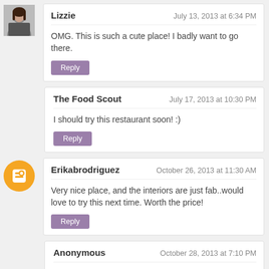Lizzie — July 13, 2013 at 6:34 PM
OMG. This is such a cute place! I badly want to go there.
The Food Scout — July 17, 2013 at 10:30 PM
I should try this restaurant soon! :)
Erikabrodriguez — October 26, 2013 at 11:30 AM
Very nice place, and the interiors are just fab..would love to try this next time. Worth the price!
Anonymous — October 28, 2013 at 7:10 PM
WOW! A very very very beautiful place. I will visit this place with my boyfie :)